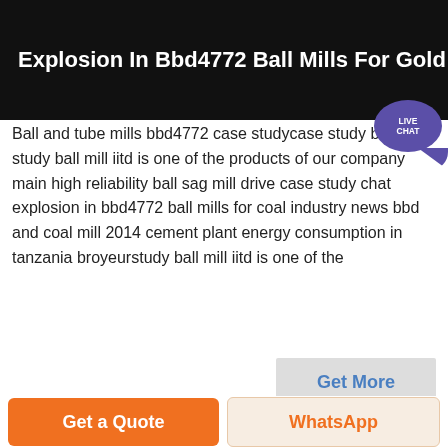Explosion In Bbd4772 Ball Mills For Gold
Ball and tube mills bbd4772 case studycase study ball mill study ball mill iitd is one of the products of our company main high reliability ball sag mill drive case study chat explosion in bbd4772 ball mills for coal industry news bbd and coal mill 2014 cement plant energy consumption in tanzania broyeurstudy ball mill iitd is one of the
[Figure (photo): Industrial ball mill machinery in a factory setting, showing large cylindrical mill equipment with pipes and steel structure]
Get a Quote
WhatsApp